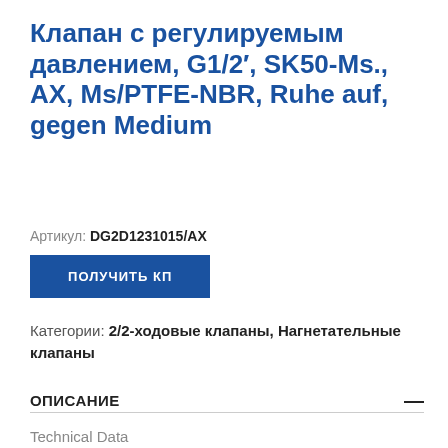Клапан с регулируемым давлением, G1/2′, SK50-Ms., AX, Ms/PTFE-NBR, Ruhe auf, gegen Medium
Артикул: DG2D1231015/AX
ПОЛУЧИТЬ КП
Категории: 2/2-ходовые клапаны, Нагнетательные клапаны
ОПИСАНИЕ
Technical Data